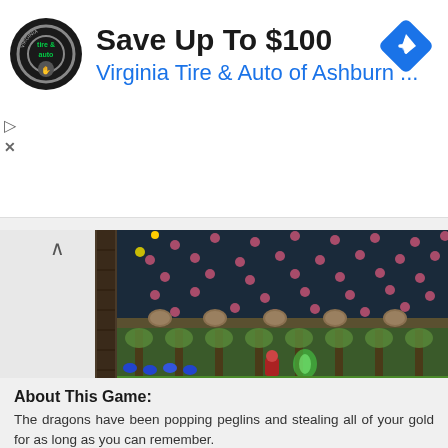[Figure (screenshot): Advertisement banner for Virginia Tire & Auto of Ashburn with logo, title 'Save Up To $100', and blue navigation diamond icon]
[Figure (screenshot): A 2D video game screenshot showing a dark dungeon level with pink/red dots (peglins/pegs), stone floor platforms, and colorful characters. Two vertically stacked similar scenes.]
About This Game:
The dragons have been popping peglins and stealing all of your gold for as long as you can remember.